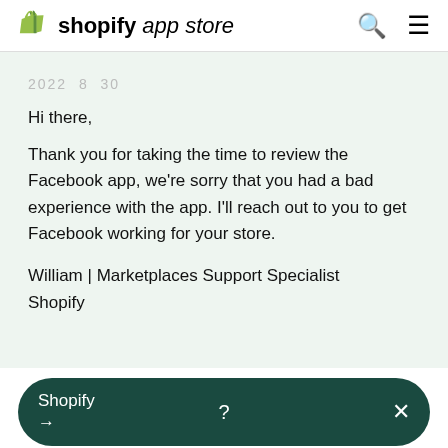shopify app store
2022  8  30
Hi there,
Thank you for taking the time to review the Facebook app, we're sorry that you had a bad experience with the app. I'll reach out to you to get Facebook working for your store.
William | Marketplaces Support Specialist
Shopify